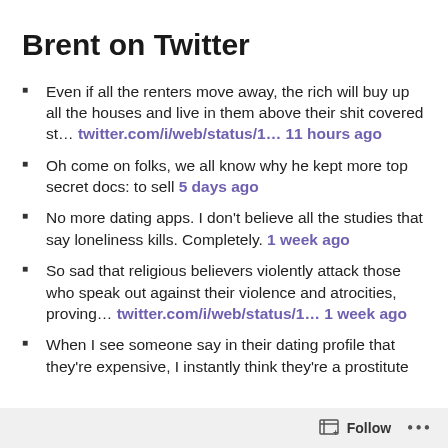Brent on Twitter
Even if all the renters move away, the rich will buy up all the houses and live in them above their shit covered st... twitter.com/i/web/status/1... 11 hours ago
Oh come on folks, we all know why he kept more top secret docs: to sell 5 days ago
No more dating apps. I don't believe all the studies that say loneliness kills. Completely. 1 week ago
So sad that religious believers violently attack those who speak out against their violence and atrocities, proving... twitter.com/i/web/status/1... 1 week ago
When I see someone say in their dating profile that they're expensive, I instantly think they're a prostitute or an attorney and swipe no. 1 week ago